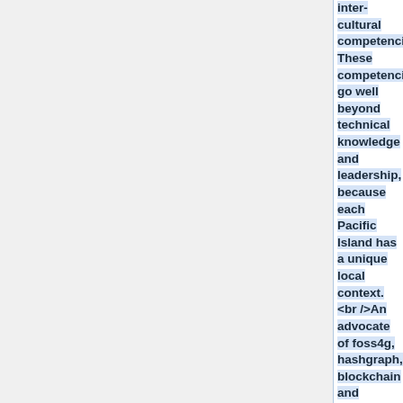inter-cultural competencies. These competencies go well beyond technical knowledge and leadership, because each Pacific Island has a unique local context. <br />An advocate of foss4g, hashgraph, blockchain and satellite technology for providing internet connectivity to the under-